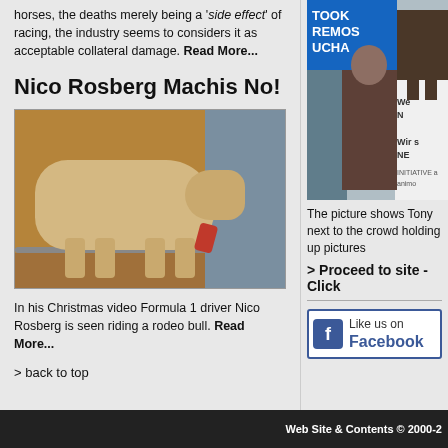horses, the deaths merely being a 'side effect' of racing, the industry seems to considers it as acceptable collateral damage. Read More...
Nico Rosberg Machis No!
[Figure (photo): A rodeo bull in a pen with a person in blue shirt standing behind it, red cloth visible, dirt ground with metal rail]
In his Christmas video Formula 1 driver Nico Rosberg is seen riding a rodeo bull. Read More...
> back to top
[Figure (photo): Protest crowd holding up signs including 'REMOS UCHA' and 'We N...' and 'Wir s... NE...' and 'INITIATIVE animo...' with people and a horse visible]
The picture shows Tony next to the crowd holding up pictures
> Proceed to site - Click
[Figure (logo): Like us on Facebook button with Facebook logo]
Web Site & Contents © 2000-2